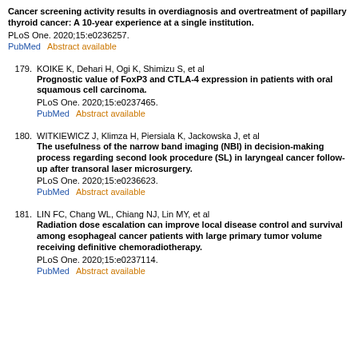Cancer screening activity results in overdiagnosis and overtreatment of papillary thyroid cancer: A 10-year experience at a single institution. PLoS One. 2020;15:e0236257. PubMed   Abstract available
179. KOIKE K, Dehari H, Ogi K, Shimizu S, et al Prognostic value of FoxP3 and CTLA-4 expression in patients with oral squamous cell carcinoma. PLoS One. 2020;15:e0237465. PubMed   Abstract available
180. WITKIEWICZ J, Klimza H, Piersiala K, Jackowska J, et al The usefulness of the narrow band imaging (NBI) in decision-making process regarding second look procedure (SL) in laryngeal cancer follow-up after transoral laser microsurgery. PLoS One. 2020;15:e0236623. PubMed   Abstract available
181. LIN FC, Chang WL, Chiang NJ, Lin MY, et al Radiation dose escalation can improve local disease control and survival among esophageal cancer patients with large primary tumor volume receiving definitive chemoradiotherapy. PLoS One. 2020;15:e0237114. PubMed   Abstract available